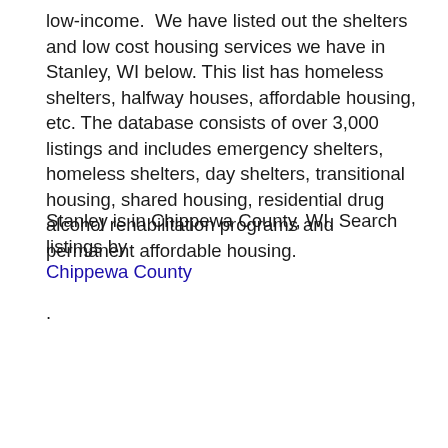low-income.  We have listed out the shelters and low cost housing services we have in Stanley, WI below. This list has homeless shelters, halfway houses, affordable housing, etc. The database consists of over 3,000 listings and includes emergency shelters, homeless shelters, day shelters, transitional housing, shared housing, residential drug alcohol rehabilitation programs and permanent affordable housing.
Stanley is in Chippewa County, WI. Search listings by Chippewa County .